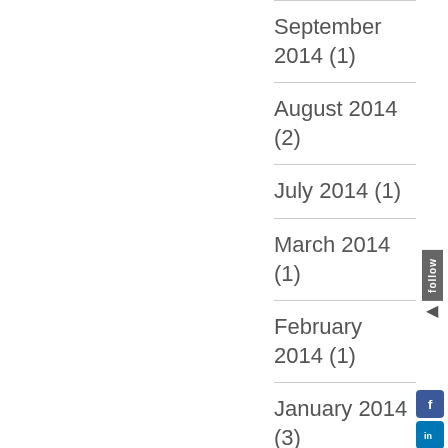September 2014 (1)
August 2014 (2)
July 2014 (1)
March 2014 (1)
February 2014 (1)
January 2014 (3)